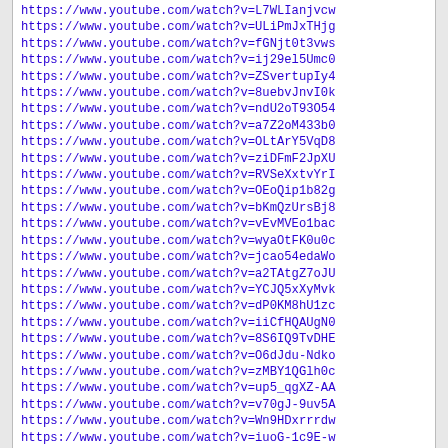https://www.youtube.com/watch?v=L7WLIanjvcw
https://www.youtube.com/watch?v=ULiPmJxTHjg
https://www.youtube.com/watch?v=fGNjt0t3vws
https://www.youtube.com/watch?v=ij29el5Umc0
https://www.youtube.com/watch?v=ZSvertupIy4
https://www.youtube.com/watch?v=8uebvJnvI0k
https://www.youtube.com/watch?v=ndU2oT93O54
https://www.youtube.com/watch?v=a7Z2oM433b0
https://www.youtube.com/watch?v=OLtArY5VqD8
https://www.youtube.com/watch?v=ziDFmF2JpXU
https://www.youtube.com/watch?v=RVSeXxtvYrI
https://www.youtube.com/watch?v=OEoQip1b82g
https://www.youtube.com/watch?v=bKmQzUrsBj8
https://www.youtube.com/watch?v=vEvMVEo1bac
https://www.youtube.com/watch?v=wyaOtFK0u0c
https://www.youtube.com/watch?v=jcao54edaWo
https://www.youtube.com/watch?v=a2TAtgZ7oJU
https://www.youtube.com/watch?v=YCJQ5xXyMvk
https://www.youtube.com/watch?v=dP0KM8hU1zc
https://www.youtube.com/watch?v=iiCfHQAUgN0
https://www.youtube.com/watch?v=8S6IQ9TvDHE
https://www.youtube.com/watch?v=O6dJdu-Ndko
https://www.youtube.com/watch?v=zMBY1QGlh0c
https://www.youtube.com/watch?v=up5_qgXZ-AA
https://www.youtube.com/watch?v=v70gJ-9uv5A
https://www.youtube.com/watch?v=Wn9HDxrrrdw
https://www.youtube.com/watch?v=iuoG-1c9E-w
https://www.youtube.com/watch?v=bHa-TXAszLs
https://www.youtube.com/watch?v=4jL4ZguRrT4